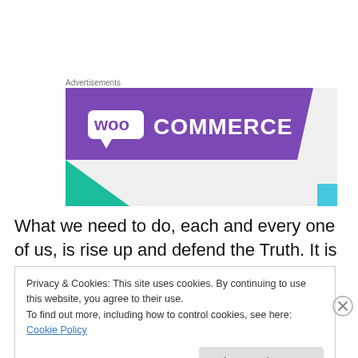Advertisements
[Figure (logo): WooCommerce advertisement banner with purple background, 'woo' in a speech bubble and 'COMMERCE' text in white, with teal and light blue decorative triangles on a light grey background.]
What we need to do, each and every one of us, is rise up and defend the Truth. It is the promise of eternal life which
Privacy & Cookies: This site uses cookies. By continuing to use this website, you agree to their use.
To find out more, including how to control cookies, see here: Cookie Policy
Close and accept